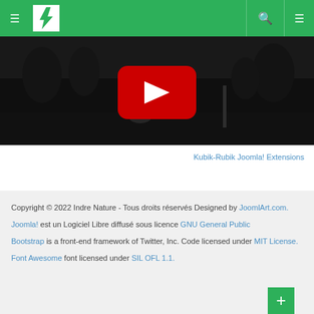Navigation header with hamburger menu, Indre Nature logo, search icon, and menu icon on green background
[Figure (screenshot): Dark night-vision wildlife camera video thumbnail with YouTube play button overlay showing an animal in a field]
Kubik-Rubik Joomla! Extensions
Copyright © 2022 Indre Nature - Tous droits réservés Designed by JoomlArt.com. Joomla! est un Logiciel Libre diffusé sous licence GNU General Public Bootstrap is a front-end framework of Twitter, Inc. Code licensed under MIT License. Font Awesome font licensed under SIL OFL 1.1.